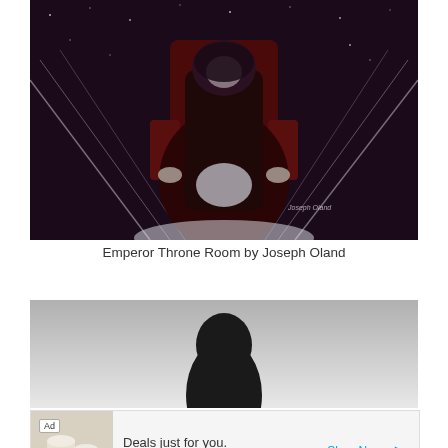[Figure (illustration): Digital painting titled 'Emperor Throne Room by Joseph Oland' — a dark-robed figure seated on a throne against a starry dark background with diagonal light streaks. Signed 'Joseph Oland' in lower right.]
Emperor Throne Room by Joseph Oland
[Figure (photo): Partially visible image showing a dark silhouette figure against a grey/white background — bottom portion cut off by advertisement bar.]
Ad  Deals just for you.  Best Buy  Shop Now.